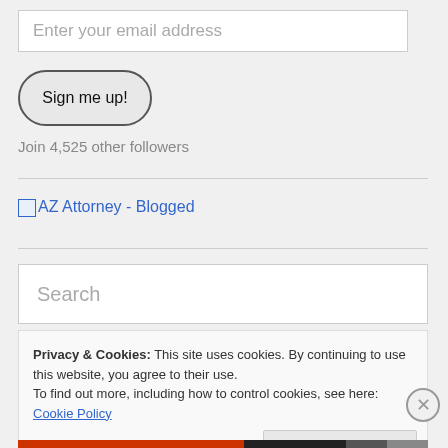Enter your email address
Sign me up!
Join 4,525 other followers
[Figure (other): AZ Attorney - Blogged link with broken image icon]
Search
Privacy & Cookies: This site uses cookies. By continuing to use this website, you agree to their use.
To find out more, including how to control cookies, see here: Cookie Policy
Close and accept